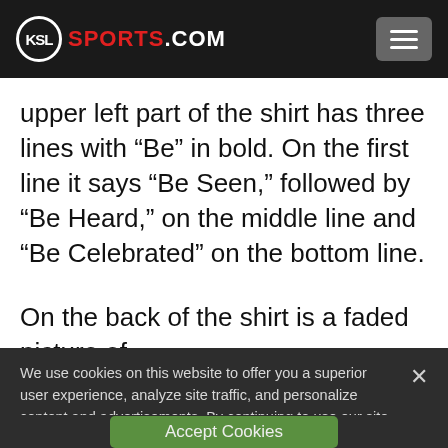KSL SPORTS.COM
upper left part of the shirt has three lines with “Be” in bold. On the first line it says “Be Seen,” followed by “Be Heard,” on the middle line and “Be Celebrated” on the bottom line.
On the back of the shirt is a faded picture of
We use cookies on this website to offer you a superior user experience, analyze site traffic, and personalize content and advertisements. By continuing to use our site, you consent to our use of cookies. Please visit our Privacy Policy for more information.
Accept Cookies